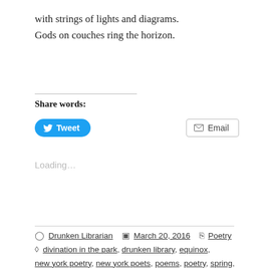with strings of lights and diagrams.
Gods on couches ring the horizon.
Share words:
Tweet
Email
Loading...
Drunken Librarian   March 20, 2016   Poetry
divination in the park, drunken library, equinox, new york poetry, new york poets, poems, poetry, spring, spring poem, vijay seshadri